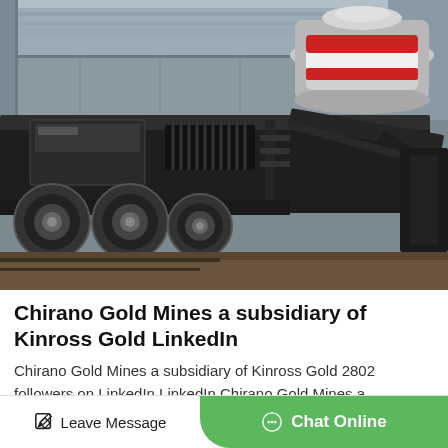[Figure (photo): A large mobile cone crusher mounted on a heavy-duty flatbed trailer with multiple axles, photographed inside an industrial building or warehouse. The machine has a dark metal chassis with a large cone-shaped crusher unit on top, marked with red and white patterns.]
Chirano Gold Mines a subsidiary of Kinross Gold LinkedIn
Chirano Gold Mines a subsidiary of Kinross Gold 2802 followers on LinkedIn LinkedIn Chirano Gold Mines a subsidiary of Kinross Gold in Worldwide Expand search Jobs Goldie Star R...